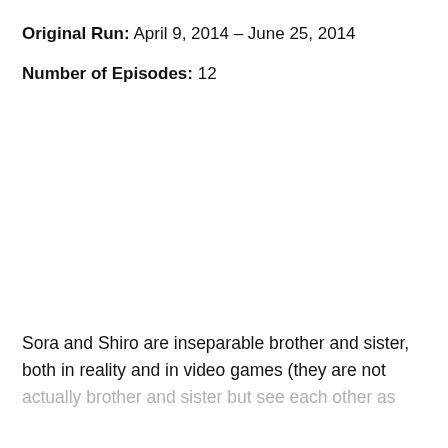Original Run: April 9, 2014 – June 25, 2014
Number of Episodes: 12
Sora and Shiro are inseparable brother and sister, both in reality and in video games (they are not actually brother and sister but see each other as